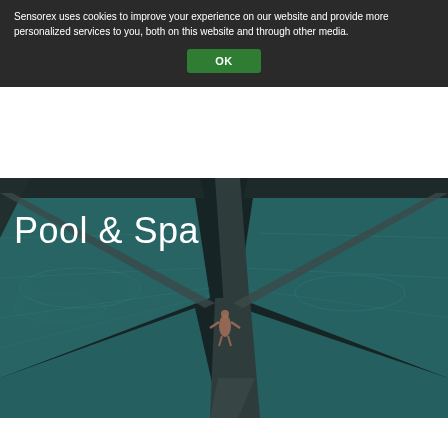Sensorex uses cookies to improve your experience on our website and provide more personalized services to you, both on this website and through other media.
OK
[Figure (photo): Aerial view of a geometric luxury pool and spa with teal water, dark dividing walkways, and a person swimming, overlaid with 'Pool & Spa' text]
Pool & Spa